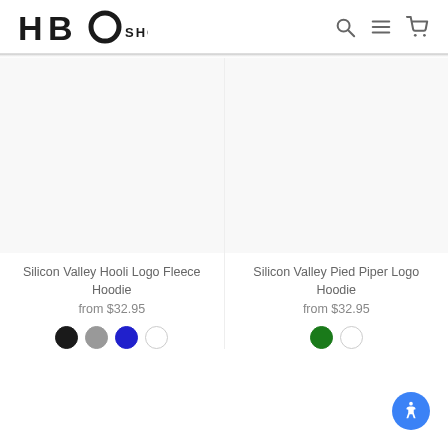HBO SHOP
Silicon Valley Hooli Logo Fleece Hoodie
from $32.95
Silicon Valley Pied Piper Logo Hoodie
from $32.95